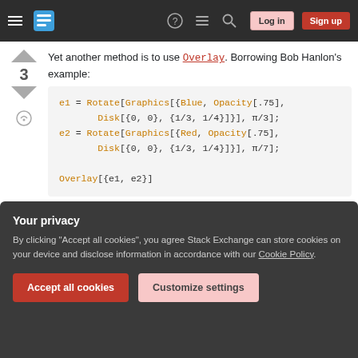Stack Exchange navigation bar with Log in and Sign up buttons
Yet another method is to use Overlay. Borrowing Bob Hanlon's example:
Your privacy
By clicking "Accept all cookies", you agree Stack Exchange can store cookies on your device and disclose information in accordance with our Cookie Policy.